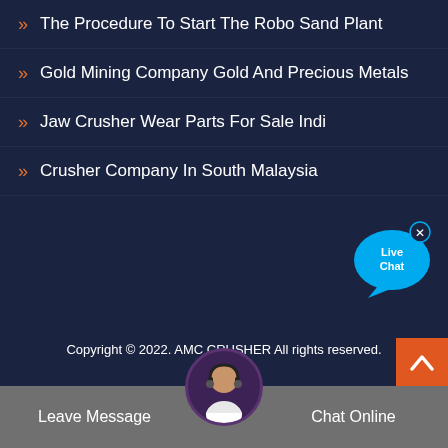The Procedure To Start The Robo Sand Plant
Gold Mining Company Gold And Precious Metals
Jaw Crusher Wear Parts For Sale Indi
Crusher Company In South Malaysia
[Figure (illustration): Live Chat speech bubble button with cyan/blue color and 'Live Chat' text, with an X close button]
Copyright © 2022. AMC CRUSHER All rights reserved.
Sitemap
[Figure (illustration): Orange scroll-to-top button with upward chevron arrow]
Leave Message   Chat Online
[Figure (photo): Customer service agent avatar photo in circular frame at bottom center of page]